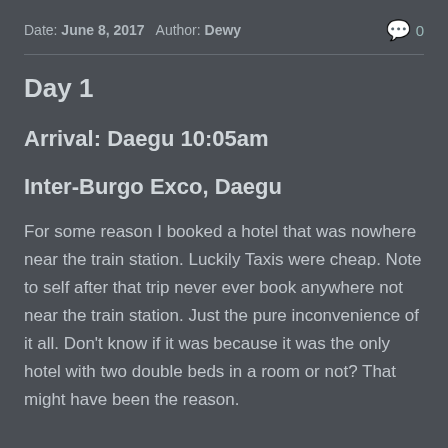Date: June 8, 2017   Author: Dewy   💬 0
Day 1
Arrival: Daegu 10:05am
Inter-Burgo Exco, Daegu
For some reason I booked a hotel that was nowhere near the train station. Luckily Taxis were cheap. Note to self after that trip never ever book anywhere not near the train station. Just the pure inconvenience of it all. Don't know if it was because it was the only hotel with two double beds in a room or not? That might have been the reason.